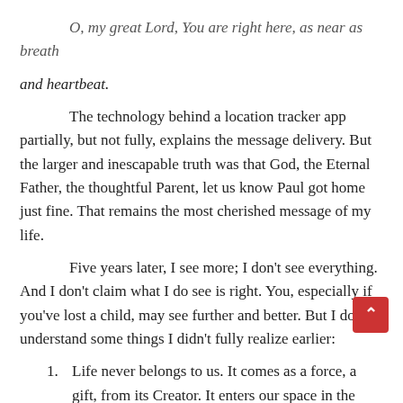O, my great Lord, You are right here, as near as breath and heartbeat.
The technology behind a location tracker app partially, but not fully, explains the message delivery. But the larger and inescapable truth was that God, the Eternal Father, the thoughtful Parent, let us know Paul got home just fine. That remains the most cherished message of my life.
Five years later, I see more; I don't see everything. And I don't claim what I do see is right. You, especially if you've lost a child, may see further and better. But I do understand some things I didn't fully realize earlier:
Life never belongs to us. It comes as a force, a gift, from its Creator. It enters our space in the form of a spouse, child, friend, or—come on—a pet. Although that life may complement ours, we cannot own it any more than we